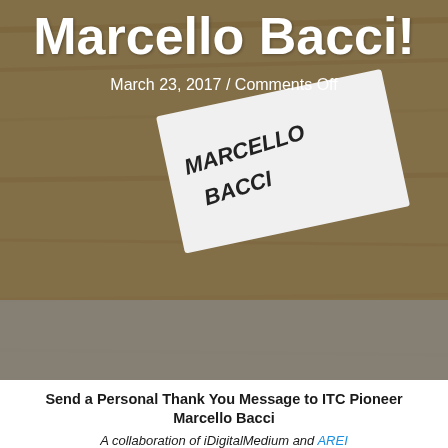[Figure (photo): Hero image with a wooden table background and a note card with 'MARCELLO BACCI' written in marker. The image has a dark overlay. Bold white text overlays the image reading 'Marcello Bacci!' with a date and comments line below.]
Marcello Bacci!
March 23, 2017 / Comments Off
Send a Personal Thank You Message to ITC Pioneer Marcello Bacci
A collaboration of iDigitalMedium and AREI